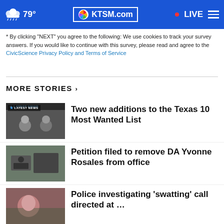79° KTSM.com LIVE
* By clicking "NEXT" you agree to the following: We use cookies to track your survey answers. If you would like to continue with this survey, please read and agree to the CivicScience Privacy Policy and Terms of Service
MORE STORIES ›
Two new additions to the Texas 10 Most Wanted List
Petition filed to remove DA Yvonne Rosales from office
Police investigating 'swatting' call directed at …
Biden announces student loan forgiveness plan